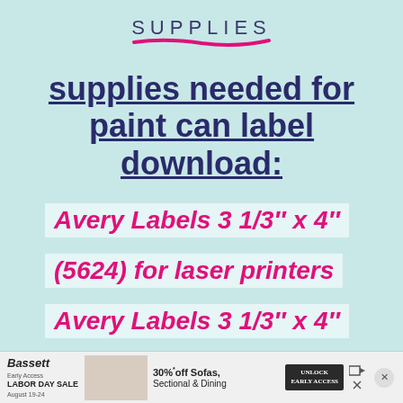SUPPLIES
supplies needed for paint can label download:
Avery Labels 3 1/3″ x 4″
(5624) for laser printers
Avery Labels 3 1/3″ x 4″
[Figure (infographic): Advertisement banner for Bassett Early Access Labor Day Sale August 19-24, 30% off Sofas, Sectional & Dining, with Unlock Early Access button]